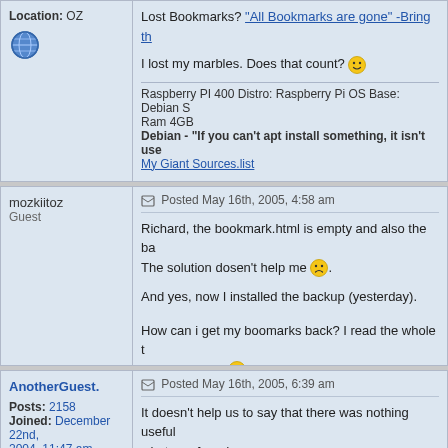Location: OZ
Lost Bookmarks? "All Bookmarks are gone" -Bring th...
I lost my marbles. Does that count? 😊
Raspberry PI 400 Distro: Raspberry Pi OS Base: Debian S... Ram 4GB
Debian - "If you can't apt install something, it isn't use...
My Giant Sources.list
mozkiitoz
Guest
Posted May 16th, 2005, 4:58 am
Richard, the bookmark.html is empty and also the ba... The solution dosen't help me 😕.
And yes, now I installed the backup (yesterday).
How can i get my boomarks back? I read the whole t... Nothing useful 😕
AnotherGuest.
Posts: 2158
Joined: December 22nd, 2004, 11:47 am
Posted May 16th, 2005, 6:39 am
It doesn't help us to say that there was nothing useful... what you found.
If you want, I can give you a reference to another site...